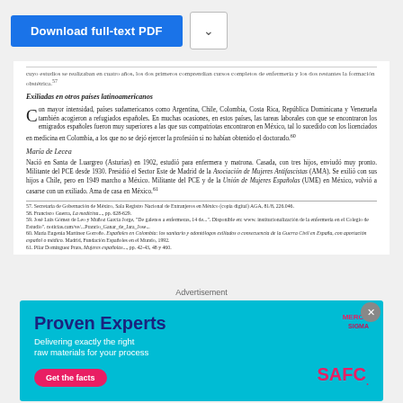[Figure (screenshot): Blue 'Download full-text PDF' button and a chevron dropdown button on a grey background]
cuyo estudios se realizaban en cuatro años, los dos primeros comprendían cursos completos de enfermería y los dos restantes la formación obstétrica.
Exiliadas en otros países latinoamericanos
Con mayor intensidad, países sudamericanos como Argentina, Chile, Colombia, Costa Rica, República Dominicana y Venezuela también acogieron a refugiados españoles. En muchas ocasiones, en estos países, las tareas laborales con que se encontraron los emigrados españoles fueron muy superiores a las que sus compatriotas encontraron en México, tal lo sucedido con los licenciados en medicina en Colombia, a los que no se dejó ejercer la profesión si no habían obtenido el doctorado.
María de Lecea
Nació en Santa de Luargreo (Asturias) en 1902, estudió para enfermera y matrona. Casada, con tres hijos, enviudó muy pronto. Militante del PCE desde 1930. Presidió el Sector Este de Madrid de la Asociación de Mujeres Antifascistas (AMA). Se exilió con sus hijos a Chile, pero en 1949 marcho a México. Militante del PCE y de la Unión de Mujeres Españolas (UME) en México, volvió a casarse con un exiliado. Ama de casa en México.
57. Secretaria de Gobernación de México, Sala Registro Nacional de Extranjeros en México (copia digital) AGA, 81/8, 226.046.
58. Francisco Guerra, La medicina..., pp. 628-629.
59. José Luis Gómez de Leo y Muñoz García Jorge, "De galenos a enfermeras, 14 de..." matemáticamen de la enfermería en el Colegio de Estudio". Disponible en: www. institucionalización de la enfermería... noticias.cam/ve/...Prancio_Ganar_de_Jara_Jose...
60. María Eugenia Martínez Gorroño. Españoles en Colombia: los sanitario y odontólogos exiliados o consecuencia de la Guerra Civil en España, con aportación español o médico. Madrid, Fundación Españoles en el Mundo, 1992.
61. Pilar Domínguez Prats, Mujeres españolas..., pp. 42-43, 48 y 460.
Advertisement
[Figure (illustration): Advertisement for Merck/SAFC: 'Proven Experts – Delivering exactly the right raw materials for your process' with teal background, Get the facts button, and SAFC logo]